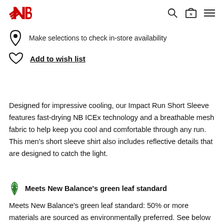New Balance header with logo, search, cart, and menu icons
Make selections to check in-store availability
Add to wish list
Designed for impressive cooling, our Impact Run Short Sleeve features fast-drying NB ICEx technology and a breathable mesh fabric to help keep you cool and comfortable through any run. This men's short sleeve shirt also includes reflective details that are designed to catch the light.
Meets New Balance's green leaf standard
Meets New Balance's green leaf standard: 50% or more materials are sourced as environmentally preferred. See below for this